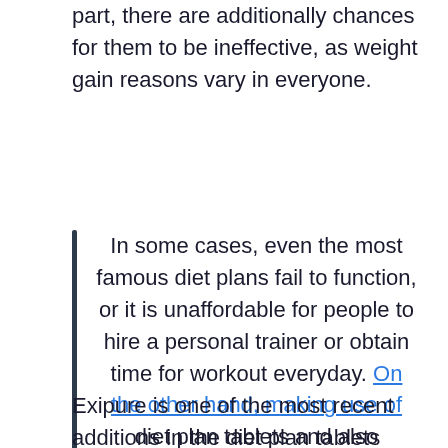part, there are additionally chances for them to be ineffective, as weight gain reasons vary in everyone.
In some cases, even the most famous diet plans fail to function, or it is unaffordable for people to hire a personal trainer or obtain time for workout everyday. On the other hand, making use of diet plan tablets and also expecting the body to drop weight on its own sounds very easy, plus diet pills cost less than a fat burning surgical procedure, so individuals favor to use them.
Exipure is one of the most recent additions in the diet plan tablets that are preferred nowadays.